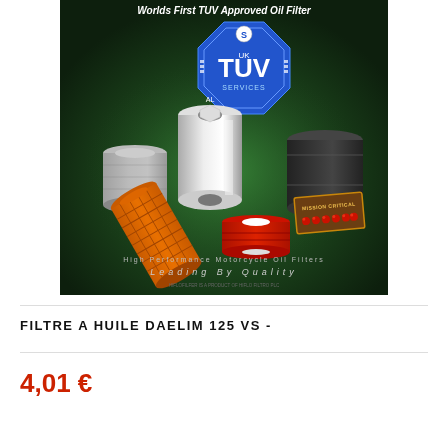[Figure (photo): Product photo showing multiple motorcycle oil filters of different types (cylindrical chrome, black, orange mesh, red) arranged on a dark green background with a blue TUV octagon logo and text 'Worlds First TUV Approved Oil Filter', 'High Performance Motorcycle Oil Filters', 'Leading By Quality', and a 'Mission Critical' badge.]
FILTRE A HUILE DAELIM 125 VS -
4,01 €